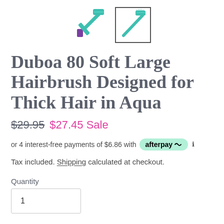[Figure (photo): Two thumbnail images of a hairbrush product; left thumbnail shows hairbrush with purple/teal color unselected, right thumbnail is selected with a border showing the same teal hairbrush on white background]
Duboa 80 Soft Large Hairbrush Designed for Thick Hair in Aqua
$29.95  $27.45 Sale
or 4 interest-free payments of $6.86 with afterpay ℹ
Tax included. Shipping calculated at checkout.
Quantity
1